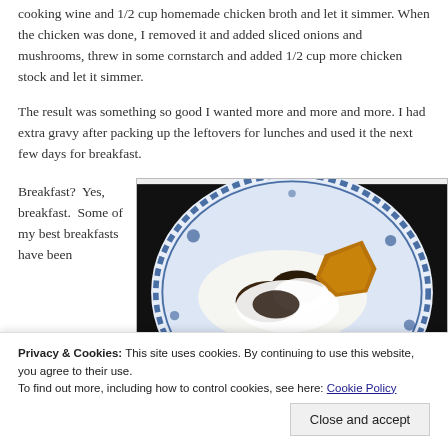cooking wine and 1/2 cup homemade chicken broth and let it simmer.  When the chicken was done, I removed it and added sliced onions and mushrooms, threw in some cornstarch and added 1/2 cup more chicken stock and let it simmer.
The result was something so good I wanted more and more and more.  I had extra gravy after packing up the leftovers for lunches and used it the next few days for breakfast.
Breakfast?  Yes, breakfast.  Some of my best breakfasts have been
[Figure (photo): A blue and white decorative plate with food on it — appears to be chicken or meat with a white sauce/gravy and a golden-brown piece, photographed close-up against a dark background.]
Privacy & Cookies: This site uses cookies. By continuing to use this website, you agree to their use.
To find out more, including how to control cookies, see here: Cookie Policy
Close and accept